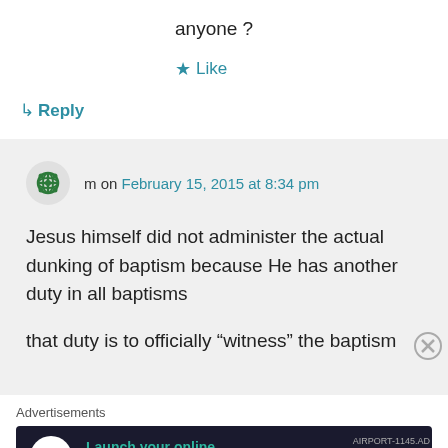anyone ?
★ Like
↵ Reply
m on February 15, 2015 at 8:34 pm
Jesus himself did not administer the actual dunking of baptism because He has another duty in all baptisms
that duty is to officially “witness” the baptism
Advertisements
[Figure (screenshot): Advertisement banner: Launch your online course with WordPress. Learn More.]